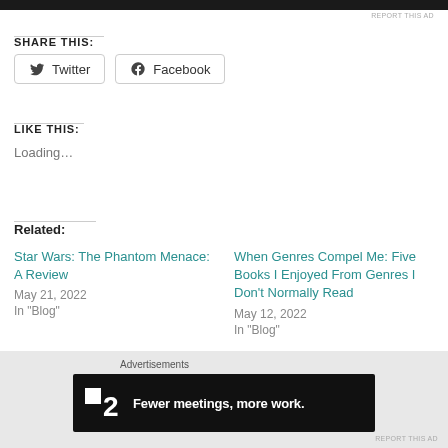[Figure (other): Dark top bar (ad/image banner)]
REPORT THIS AD
SHARE THIS:
Twitter
Facebook
LIKE THIS:
Loading...
Related:
Star Wars: The Phantom Menace: A Review
May 21, 2022
In "Blog"
When Genres Compel Me: Five Books I Enjoyed From Genres I Don't Normally Read
May 12, 2022
In "Blog"
Advertisements
[Figure (other): Advertisement banner: logo '2' with text 'Fewer meetings, more work.']
REPORT THIS AD